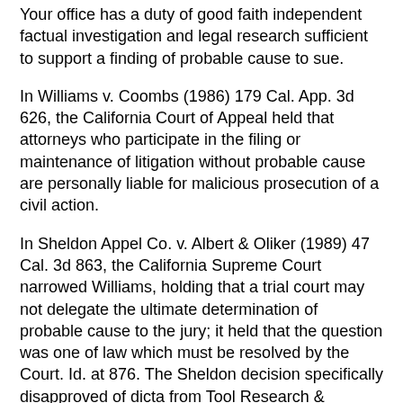Your office has a duty of good faith independent factual investigation and legal research sufficient to support a finding of probable cause to sue.
In Williams v. Coombs (1986) 179 Cal. App. 3d 626, the California Court of Appeal held that attorneys who participate in the filing or maintenance of litigation without probable cause are personally liable for malicious prosecution of a civil action.
In Sheldon Appel Co. v. Albert & Oliker (1989) 47 Cal. 3d 863, the California Supreme Court narrowed Williams, holding that a trial court may not delegate the ultimate determination of probable cause to the jury; it held that the question was one of law which must be resolved by the Court. Id. at 876. The Sheldon decision specifically disapproved of dicta from Tool Research & Engineering Corp. v. Henigson (1975) 46 Cal. App. 3d 675, at 683, that the attorney must have a "subjective belief" in the tenability of his or her client's claim in order to avoid malicious prosecution liability. Sheldon Appel Co. v. Albert & Oliker, supra, 47 Cal. 3d at 881. It nevertheless "strongly